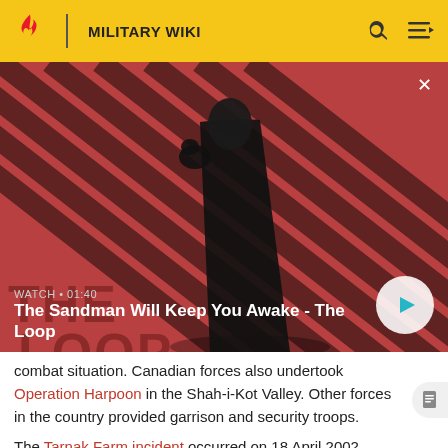MILITARY WIKI
[Figure (screenshot): Video thumbnail for 'The Sandman Will Keep You Awake - The Loop' showing a dark-cloaked figure with a raven on a red-and-black striped background. Shows WATCH • 01:40 label and a play button.]
combat situation. Canadian forces also undertook Operation Harpoon in the Shah-i-Kot Valley. Other forces in the country provided garrison and security troops.
The Tarnak Farm incident occurred on 18 April 2002, when an American F-16 jet dropped a laser-guided bomb on a